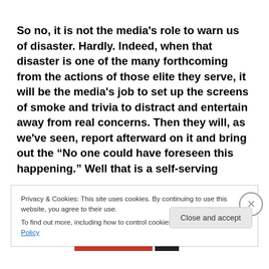So no, it is not the media's role to warn us of disaster. Hardly. Indeed, when that disaster is one of the many forthcoming from the actions of those elite they serve, it will be the media's job to set up the screens of smoke and trivia to distract and entertain away from real concerns. Then they will, as we've seen, report afterward on it and bring out the "No one could have foreseen this happening." Well that is a self-serving
Privacy & Cookies: This site uses cookies. By continuing to use this website, you agree to their use. To find out more, including how to control cookies, see here: Cookie Policy